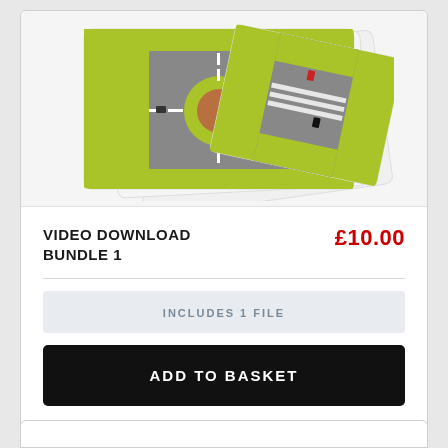[Figure (illustration): Top-down aerial view illustration of road segments including a roundabout and a crossroads/intersection, shown as multiple overlapping cards fanned out, with green grass areas and grey road surfaces with white markings and small car illustrations.]
VIDEO DOWNLOAD BUNDLE 1
£10.00
INCLUDES 1 FILE
ADD TO BASKET
SECURE CHECKOUT BY DPD